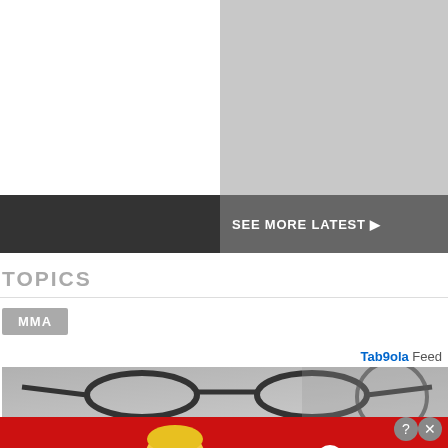[Figure (screenshot): Top section with white left panel and light gray right panel]
SEE MORE LATEST ▶
TOPICS
MMA
Taboola Feed
[Figure (photo): Photo of bicycle with glasses in foreground]
[Figure (screenshot): BitLife advertisement banner: FAIL, animated character, START A NEW LIFE]